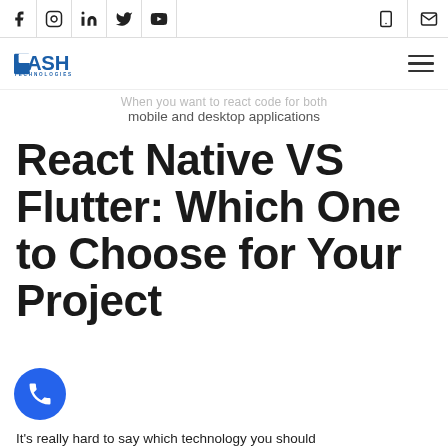Social icons: Facebook, Instagram, LinkedIn, Twitter, YouTube | Tablet icon | Email icon
[Figure (logo): DASH Technologies logo in blue with hamburger menu on the right]
mobile and desktop applications
React Native VS Flutter: Which One to Choose for Your Project
It's really hard to say which technology you should